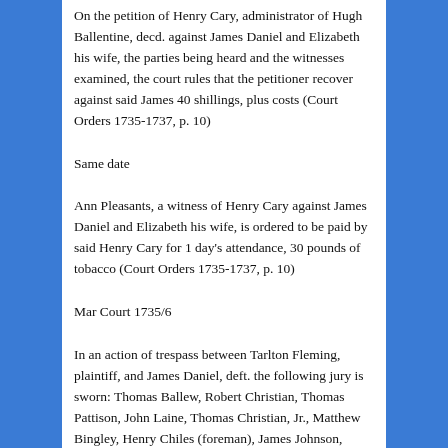On the petition of Henry Cary, administrator of Hugh Ballentine, decd. against James Daniel and Elizabeth his wife, the parties being heard and the witnesses examined, the court rules that the petitioner recover against said James 40 shillings, plus costs (Court Orders 1735-1737, p. 10)
Same date
Ann Pleasants, a witness of Henry Cary against James Daniel and Elizabeth his wife, is ordered to be paid by said Henry Cary for 1 day's attendance, 30 pounds of tobacco (Court Orders 1735-1737, p. 10)
Mar Court 1735/6
In an action of trespass between Tarlton Fleming, plaintiff, and James Daniel, deft. the following jury is sworn: Thomas Ballew, Robert Christian, Thomas Pattison, John Laine, Thomas Christian, Jr., Matthew Bingley, Henry Chiles (foreman), James Johnson, Thomas Bassett, Thos. Saunders, Stephen Cox, John